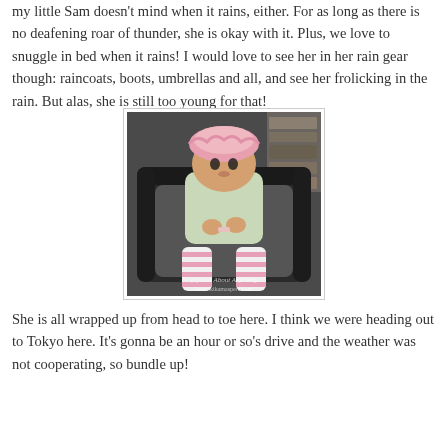my little Sam doesn't mind when it rains, either. For as long as there is no deafening roar of thunder, she is okay with it. Plus, we love to snuggle in bed when it rains! I would love to see her in her rain gear though: raincoats, boots, umbrellas and all, and see her frolicking in the rain. But alas, she is still too young for that!
[Figure (photo): A baby girl sitting in a dark stroller, wearing a pink ruffled hat and a light green/white jacket, with pink and white striped leg warmers on her chubby legs. Watermark reads '(c) Just About Anything' and 'www.kikamaspera.com'.]
She is all wrapped up from head to toe here. I think we were heading out to Tokyo here. It's gonna be an hour or so's drive and the weather was not cooperating, so bundle up!